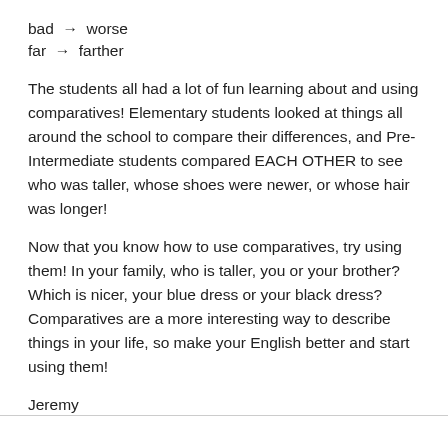bad → worse
far → farther
The students all had a lot of fun learning about and using comparatives! Elementary students looked at things all around the school to compare their differences, and Pre-Intermediate students compared EACH OTHER to see who was taller, whose shoes were newer, or whose hair was longer!
Now that you know how to use comparatives, try using them! In your family, who is taller, you or your brother? Which is nicer, your blue dress or your black dress? Comparatives are a more interesting way to describe things in your life, so make your English better and start using them!
Jeremy